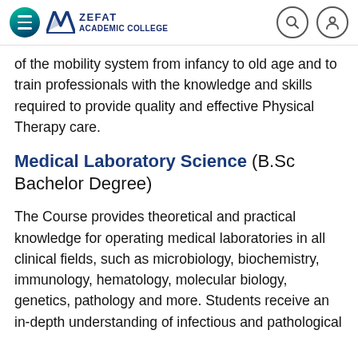Zefat Academic College
of the mobility system from infancy to old age and to train professionals with the knowledge and skills required to provide quality and effective Physical Therapy care.
Medical Laboratory Science (B.Sc Bachelor Degree)
The Course provides theoretical and practical knowledge for operating medical laboratories in all clinical fields, such as microbiology, biochemistry, immunology, hematology, molecular biology, genetics, pathology and more. Students receive an in-depth understanding of infectious and pathological